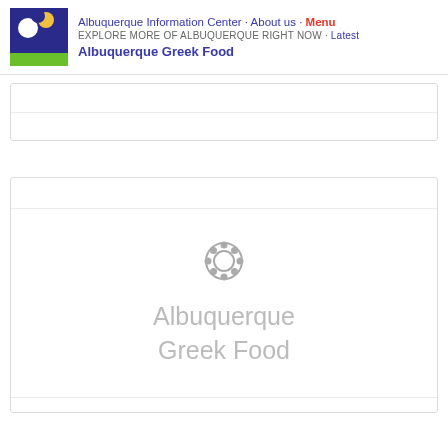Albuquerque Information Center · About us · Menu
EXPLORE MORE OF ALBUQUERQUE RIGHT NOW · Latest
Albuquerque Greek Food
[Figure (screenshot): Website header with logo (dark blue square with white circle and yellow crescent, green bar below), navigation links, and site title 'Albuquerque Greek Food']
[Figure (screenshot): Placeholder card with a gray circular gear/sun icon and gray text reading 'Albuquerque Greek Food']